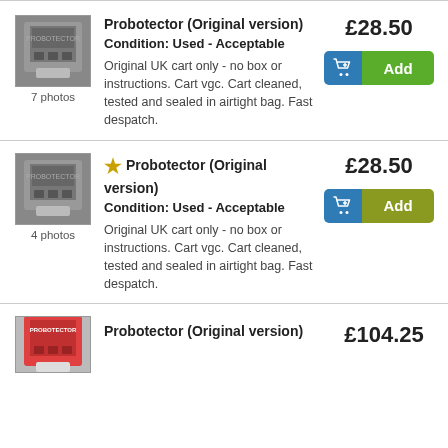[Figure (photo): Photo of a grey NES game cartridge for Probotector]
7 photos
Probotector (Original version)
Condition: Used - Acceptable
Original UK cart only - no box or instructions. Cart vgc. Cart cleaned, tested and sealed in airtight bag. Fast despatch.
£28.50
[Figure (photo): Photo of a grey NES game cartridge for Probotector]
4 photos
Probotector (Original version)
Condition: Used - Acceptable
Original UK cart only - no box or instructions. Cart vgc. Cart cleaned, tested and sealed in airtight bag. Fast despatch.
£28.50
[Figure (photo): Photo of a NES game cartridge for Probotector (partially visible)]
Probotector (Original version)
£104.25